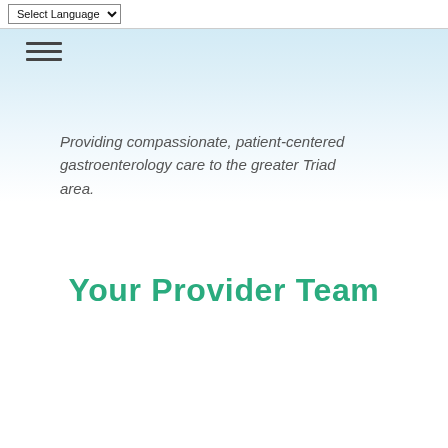Select Language
[Figure (other): Hamburger menu icon with three horizontal lines]
Providing compassionate, patient-centered gastroenterology care to the greater Triad area.
Your Provider Team